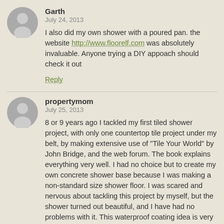Garth
July 24, 2013
I also did my own shower with a poured pan. the website http://www.floorelf.com was absolutely invaluable. Anyone trying a DIY appoach should check it out
Reply
propertymom
July 25, 2013
8 or 9 years ago I tackled my first tiled shower project, with only one countertop tile project under my belt, by making extensive use of "Tile Your World" by John Bridge, and the web forum. The book explains everything very well. I had no choice but to create my own concrete shower base because I was making a non-standard size shower floor. I was scared and nervous about tackling this project by myself, but the shower turned out beautiful, and I have had no problems with it. This waterproof coating idea is very interesting, and I will definitely consider using it on my next shower project.
Reply